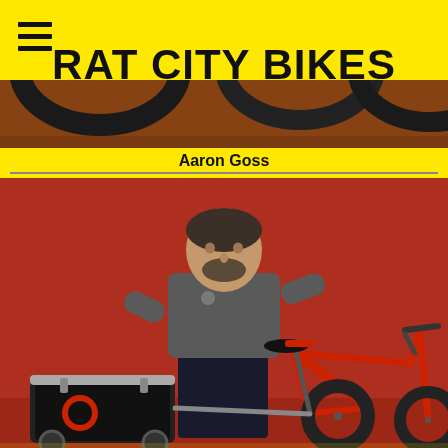RAT CITY BIKES
[Figure (photo): Top banner photo showing bicycle tires/wheels against a brown/red wall background]
Aaron Goss
[Figure (photo): Man in gray t-shirt and dark pants standing in front of a red/brown wall, holding the handlebars of a red bicycle with a cargo trailer/bag attached to the left side]